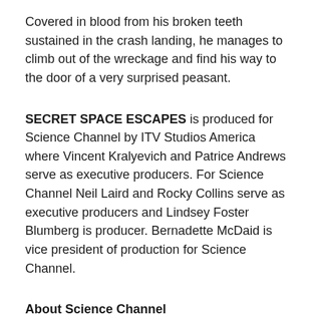Covered in blood from his broken teeth sustained in the crash landing, he manages to climb out of the wreckage and find his way to the door of a very surprised peasant.
SECRET SPACE ESCAPES is produced for Science Channel by ITV Studios America where Vincent Kralyevich and Patrice Andrews serve as executive producers. For Science Channel Neil Laird and Rocky Collins serve as executive producers and Lindsey Foster Blumberg is producer. Bernadette McDaid is vice president of production for Science Channel.
About Science Channel
Science Channel, a division of Discovery Communications, is home for the thought...